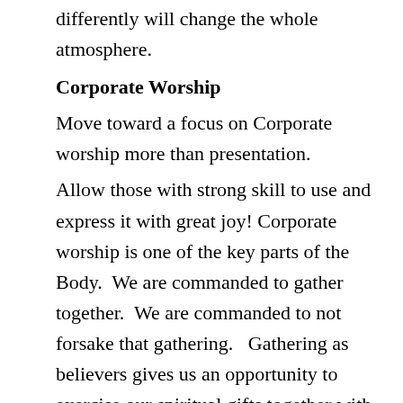differently will change the whole atmosphere.
Corporate Worship
Move toward a focus on Corporate worship more than presentation.
Allow those with strong skill to use and express it with great joy! Corporate worship is one of the key parts of the Body.  We are commanded to gather together.  We are commanded to not forsake that gathering.   Gathering as believers gives us an opportunity to exercise our spiritual gifts together with other believers.   All Christians have a spiritual gift.  This gift is not the same as a skill.  It is a special ability to help others walk with Christ in some way.  Some can